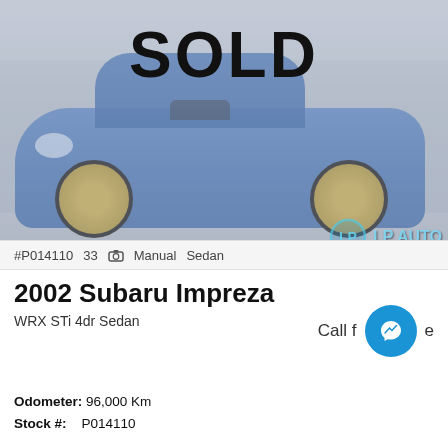[Figure (photo): 2002 Subaru Impreza WRX STi in blue with gold wheels, shown in a parking lot. Large 'SOLD' text overlay on the image. LP AUTO watermark in bottom right corner.]
#P014110  33  Manual  Sedan
2002 Subaru Impreza
WRX STi 4dr Sedan
Call for price
Odometer:  96,000 Km
Stock #:  P014110